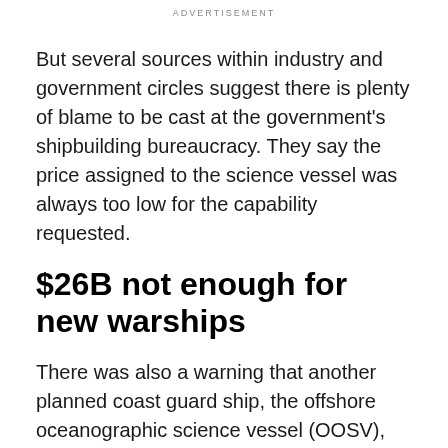ADVERTISEMENT
But several sources within industry and government circles suggest there is plenty of blame to be cast at the government's shipbuilding bureaucracy. They say the price assigned to the science vessel was always too low for the capability requested.
$26B not enough for new warships
There was also a warning that another planned coast guard ship, the offshore oceanographic science vessel (OOSV), would need to have its funding envelope increased, as would the multi-billion-dollar replacement program for Canada's frigates.